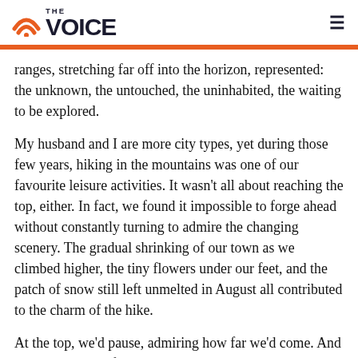THE VOICE
ranges, stretching far off into the horizon, represented: the unknown, the untouched, the uninhabited, the waiting to be explored.
My husband and I are more city types, yet during those few years, hiking in the mountains was one of our favourite leisure activities. It wasn't all about reaching the top, either. In fact, we found it impossible to forge ahead without constantly turning to admire the changing scenery. The gradual shrinking of our town as we climbed higher, the tiny flowers under our feet, and the patch of snow still left unmelted in August all contributed to the charm of the hike.
At the top, we'd pause, admiring how far we'd come. And That's where the fun began.
The hardest part of mountain hiking was never the climbing (although my husband, carrying our daughter, might disagree): it was often the going down. The going is...